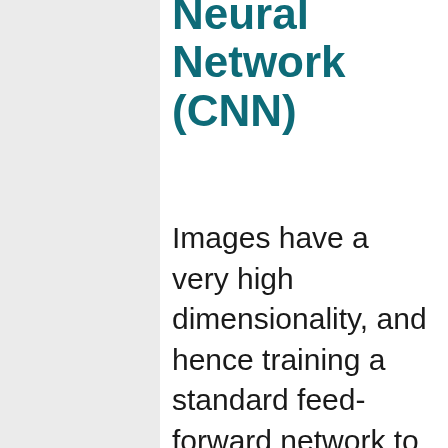Neural Network (CNN)
Images have a very high dimensionality, and hence training a standard feed-forward network to